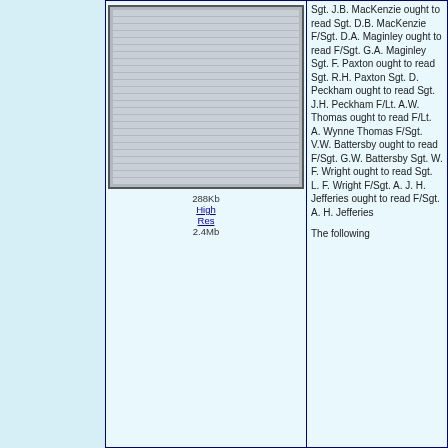[Figure (photo): Framed memorial/roll of honor list with names in small text, displayed as a photograph]
288Kb
High Res
2.4Mb
Sgt. J.B. MacKenzie ought to read Sgt. D.B. MacKenzie F/Sgt. D.A. Maginley ought to read F/Sgt. G.A. Maginley Sgt. F. Paxton ought to read Sgt. R.H. Paxton Sgt. D. Peckham ought to read Sgt. J.H. Peckham F/Lt. A.W. Thomas ought to read F/Lt. A. Wynne Thomas F/Sgt. V.W. Battersby ought to read F/Sgt. G.W. Battersby Sgt. W. F. Wright ought to read Sgt. L. F. Wright F/Sgt. A. J. H. Jefferies ought to read F/Sgt. A. H. Jefferies
The following